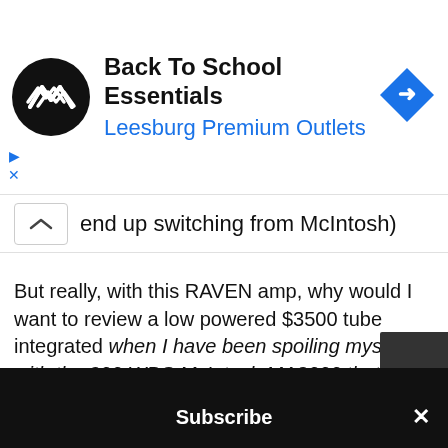[Figure (screenshot): Advertisement banner: Back To School Essentials, Leesburg Premium Outlets, with circular black logo and blue diamond navigation icon]
end up switching from McIntosh)
But really, with this RAVEN amp, why would I want to review a low powered $3500 tube integrated when I have been spoiling myself with the 300 WPC McIntosh MA8000 that offers me everything from a kick ass phono stage, a multitude of inputs, gobs of power, and a beauty that can seduce you in to the night with the big blue meters. Yep, going from THAT to a $3500 basic no frills tube integrated with 20WPC seems like a disaster waiting to happen...
Subscribe